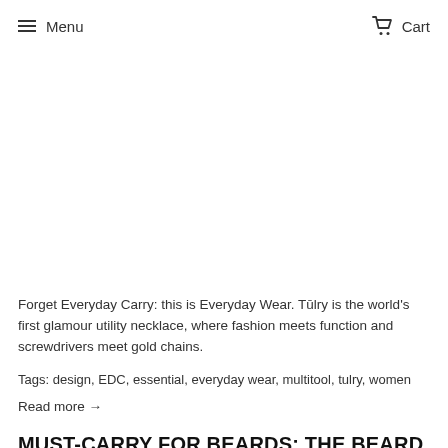Menu  Cart
Forget Everyday Carry: this is Everyday Wear. Tūlry is the world's first glamour utility necklace, where fashion meets function and screwdrivers meet gold chains.
Tags: design, EDC, essential, everyday wear, multitool, tulry, women
Read more →
MUST-CARRY FOR BEARDS: THE BEARD EDC DREAM KIT
Posted by Audrey Farber on November 17, 2017